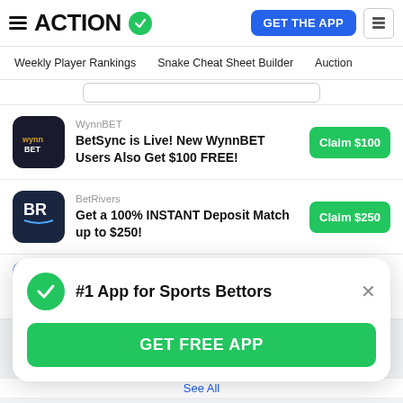ACTION — GET THE APP
Weekly Player Rankings  Snake Cheat Sheet Builder  Auction
WynnBET — BetSync is Live! New WynnBET Users Also Get $100 FREE! — Claim $100
BetRivers — Get a 100% INSTANT Deposit Match up to $250! — Claim $250
FanDuel — Bet $5 and Get $150 FREE - — Claim $150
#1 App for Sports Bettors — GET FREE APP